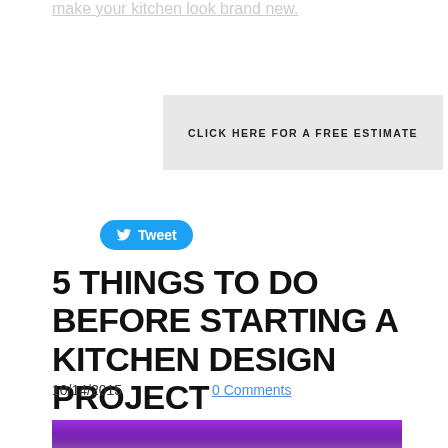make your kitchen look brand new.
CLICK HERE FOR A FREE ESTIMATE
[Figure (screenshot): Twitter Tweet button with bird icon]
5 THINGS TO DO BEFORE STARTING A KITCHEN DESIGN PROJECT
10/14/2015    0 Comments
[Figure (photo): Kitchen with purple LED lighting above cabinets, white/cream colored upper cabinets visible]